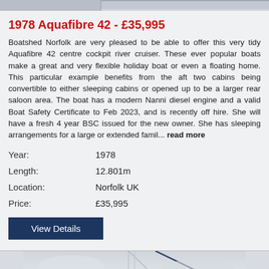[Figure (photo): Top portion of a boat image, cropped at the top of the page]
1978 Aquafibre 42 - £35,995
Boatshed Norfolk are very pleased to be able to offer this very tidy Aquafibre 42 centre cockpit river cruiser. These ever popular boats make a great and very flexible holiday boat or even a floating home. This particular example benefits from the aft two cabins being convertible to either sleeping cabins or opened up to be a larger rear saloon area. The boat has a modern Nanni diesel engine and a valid Boat Safety Certificate to Feb 2023, and is recently off hire. She will have a fresh 4 year BSC issued for the new owner. She has sleeping arrangements for a large or extended famil... read more
| Year: | 1978 |
| Length: | 12.801m |
| Location: | Norfolk UK |
| Price: | £35,995 |
View Details
[Figure (photo): Bottom portion showing a boat on water, with rigging lines visible against a grey sky]